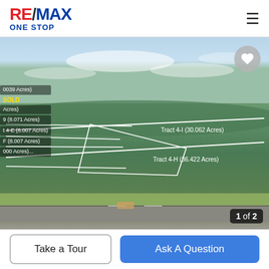[Figure (logo): RE/MAX ONE STOP logo with red RE, slash, blue MAX and blue ONE STOP subtitle]
[Figure (photo): Aerial drone photo of land parcels divided into tracts with white boundary lines. Labels show: (0039 Acres), SOLD, (8.071 Acres), 4-E (8.007 Acres), F (8.007 Acres), (000 Acres...), Tract 4-I (30.062 Acres), Tract 4-H (36.422 Acres). Road visible at bottom. Counter shows 1 of 2.]
Take a Tour
Ask A Question